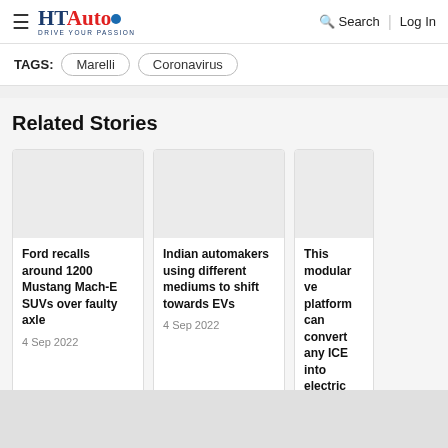HT Auto — Drive Your Passion | Search | Log In
TAGS: Marelli  Coronavirus
Related Stories
Ford recalls around 1200 Mustang Mach-E SUVs over faulty axle
4 Sep 2022
Indian automakers using different mediums to shift towards EVs
4 Sep 2022
This modular vehicle platform can convert any ICE into electric
4 Sep 2022